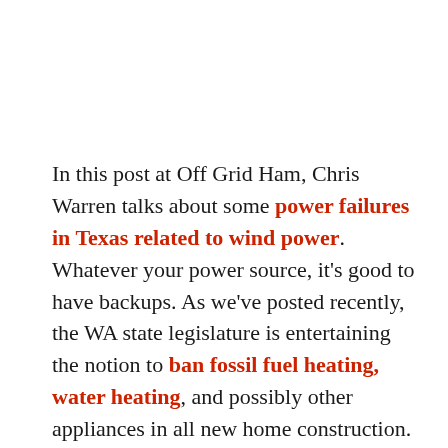In this post at Off Grid Ham, Chris Warren talks about some power failures in Texas related to wind power. Whatever your power source, it's good to have backups. As we've posted recently, the WA state legislature is entertaining the notion to ban fossil fuel heating, water heating, and possibly other appliances in all new home construction. But once you've put all your heating into the electricity basket, what happens when you have power outages like the ones going on in Texas currently, or California's rolling blackouts, or any other extended winter blackout? You get cold, really cold, perhaps dangerously cold, maybe dead